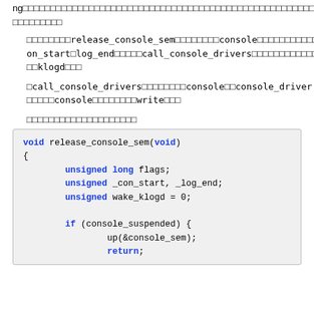ng□□□□□□□□□□□□□□□□□□□□□□□□□□□□□□□□□□□□□□□□□□□□□□□□□□□□□□□□□□□□□□□□□□□□□□□□□□□□□□□□□□□□□□□□□□□□□□□□□□□□□□□□□
□□□□□□□□□release_console_sem□□□□□□□□console□□□□□□□□□□□□□con_start□log_end□□□□□call_console_drivers□□□□□□□□□□□□□□□□klogd□□□
□call_console_drivers□□□□□□□□console□□console_driver,□□□□□□console□□□□□□□□write□□□
□□□□□□□□□□□□□□□□□□□□
[Figure (screenshot): Code block showing C function release_console_sem(void) with variable declarations and if (console_suspended) block]